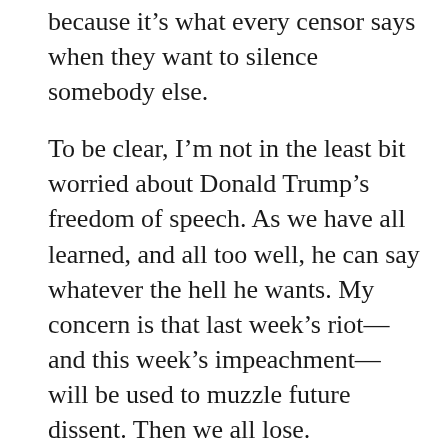because it's what every censor says when they want to silence somebody else.
To be clear, I'm not in the least bit worried about Donald Trump's freedom of speech. As we have all learned, and all too well, he can say whatever the hell he wants. My concern is that last week's riot—and this week's impeachment—will be used to muzzle future dissent. Then we all lose.
Let's be honest: we don't know if Donald Trump's speech at the Washington Monument directly caused protesters to invade the Capitol. But we do know that he refused to recognize the results of the November election, he pressured